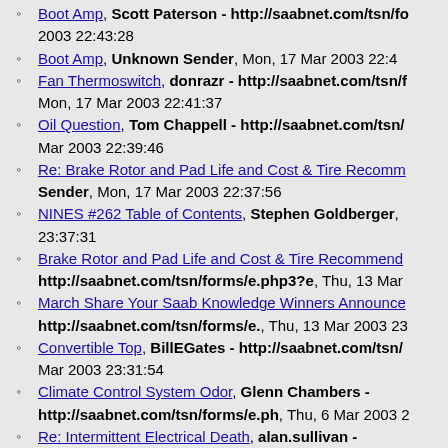Boot Amp, Scott Paterson - http://saabnet.com/tsn/fo 2003 22:43:28
Boot Amp, Unknown Sender, Mon, 17 Mar 2003 22:4
Fan Thermoswitch, donrazr - http://saabnet.com/tsn/f Mon, 17 Mar 2003 22:41:37
Oil Question, Tom Chappell - http://saabnet.com/tsn/ Mar 2003 22:39:46
Re: Brake Rotor and Pad Life and Cost & Tire Recomm Sender, Mon, 17 Mar 2003 22:37:56
NINES #262 Table of Contents, Stephen Goldberger, 23:37:31
Brake Rotor and Pad Life and Cost & Tire Recommend http://saabnet.com/tsn/forms/e.php3?e, Thu, 13 Mar
March Share Your Saab Knowledge Winners Announce http://saabnet.com/tsn/forms/e., Thu, 13 Mar 2003 23
Convertible Top, BillEGates - http://saabnet.com/tsn/ Mar 2003 23:31:54
Climate Control System Odor, Glenn Chambers - http://saabnet.com/tsn/forms/e.ph, Thu, 6 Mar 2003 2
Re: Intermittent Electrical Death, alan.sullivan - http://saabnet.com/tsn/forms/e.php, Thu, 6 Mar 2003
CD Player Part Numbers, Sean Wainwright - http://saabnet.com/tsn/forms/e.p, Thu, 6 Mar 2003 21
Front Wheel Bearings, Leo.Ranta - http://saabnet.com Thu, 6 Mar 2003 20:58:12